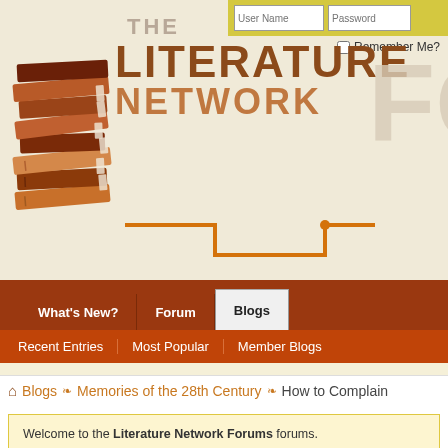[Figure (screenshot): The Literature Network Forums website header with stacked books logo, site title text, login fields for User Name and Password, Remember Me checkbox, navigation tabs (What's New?, Forum, Blogs selected), sub-navigation links (Recent Entries, Most Popular, Member Blogs), breadcrumb trail (Home > Blogs > Memories of the 28th Century > How to Complain), and a welcome message box for guests.]
User Name | Password | Remember Me?
What's New? | Forum | Blogs
Recent Entries | Most Popular | Member Blogs
Blogs > Memories of the 28th Century > How to Complain
Welcome to the Literature Network Forums forums.

You are currently viewing our boards as a guest which gives you limited access our other features. By joining our free community you will have a privately with other members (PM), respond to polls, upload content and. Registration is fast, simple and absolutely free so please, join our comm

If you have any problems with the registration process or your account l